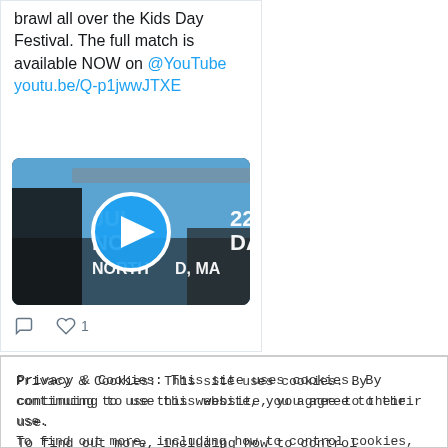brawl all over the Kids Day Festival. The full match is available NOW on @YouTube youtu.be/Q-p1jwwJTXE
[Figure (screenshot): Video thumbnail showing outdoor event scene with play button overlay. Text reads: JUL 22, NO... DAY, NORTH...D, MA]
♡ 1  (comment and like icons)
NCW Retweeted
Privacy & Cookies: This site uses cookies. By continuing to use this website, you agree to their use.
To find out more, including how to control cookies, see here: Cookie Policy
Close and accept